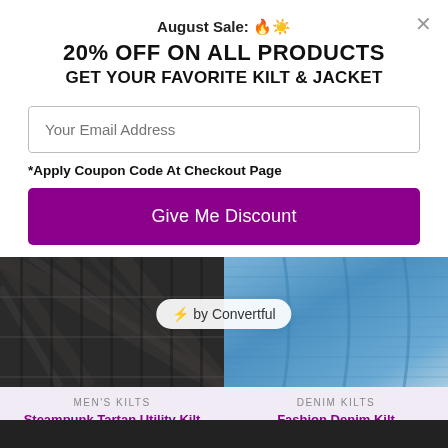August Sale: 🔥☀️
20% OFF ON ALL PRODUCTS
GET YOUR FAVORITE KILT & JACKET
Your Email Address
*Apply Coupon Code At Checkout Page
Give Me Discount
[Figure (photo): Dark plaid tartan utility kilt fabric closeup]
[Figure (photo): Blue denim kilt fabric closeup]
⚡ by Convertful
MEN'S KILTS
Steampunk Tartan Utility Kilt
€120.00  €65.00
DENIM KILTS
Fashion Denim Kilt
€150.00  €55.00